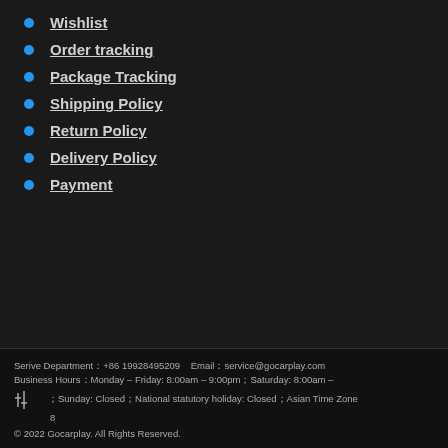Wishlist
Order tracking
Package Tracking
Shipping Policy
Return Policy
Delivery Policy
Payment
Serive Department：+86 19928495209    Email：service@gocarplay.com Business Hours：Monday – Friday: 8:00am – 9:00pm；Saturday: 8:00am – ；Sunday: Closed；National statutory holiday: Closed；Asian Time Zone © 2022 Gocarplay. All Rights Reserved.